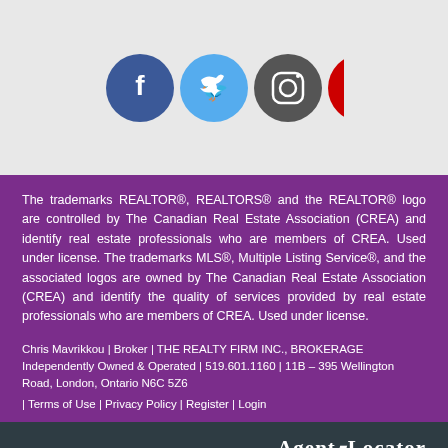[Figure (illustration): Four circular social media icons: Facebook (dark blue), Twitter (light blue), Instagram (dark gray), YouTube (red)]
The trademarks REALTOR®, REALTORS® and the REALTOR® logo are controlled by The Canadian Real Estate Association (CREA) and identify real estate professionals who are members of CREA. Used under license. The trademarks MLS®, Multiple Listing Service®, and the associated logos are owned by The Canadian Real Estate Association (CREA) and identify the quality of services provided by real estate professionals who are members of CREA. Used under license.
Chris Mavrikkou | Broker | THE REALTY FIRM INC., BROKERAGE Independently Owned & Operated | 519.601.1160 | 11B – 395 Wellington Road, London, Ontario N6C 5Z6
| Terms of Use | Privacy Policy | Register | Login
[Figure (logo): AgentLocator logo in white serif font on dark teal/gray background]
[Figure (infographic): Facebook Messenger chat widget bar with speech bubble icon, badge showing '1', and text 'Message us on Facebook!']